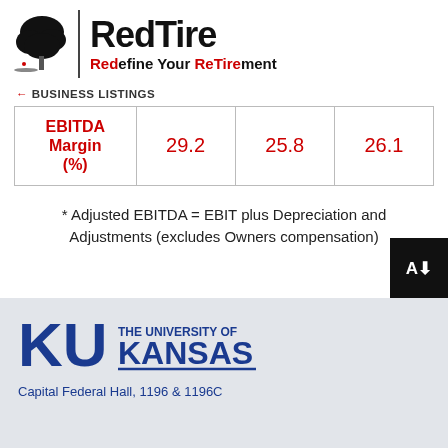RedTire — Redefine Your ReTirement
← BUSINESS LISTINGS
| EBITDA Margin (%) |  |  |  |
| --- | --- | --- | --- |
| EBITDA Margin (%) | 29.2 | 25.8 | 26.1 |
* Adjusted EBITDA = EBIT plus Depreciation and Adjustments (excludes Owners compensation)
THE UNIVERSITY OF KANSAS — Capital Federal Hall, 1196 & 1196C